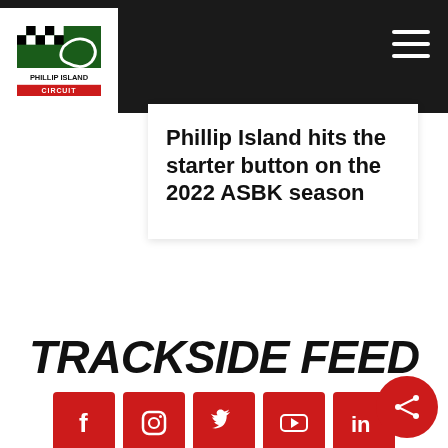[Figure (logo): Phillip Island Circuit logo — checkered flag with race track map, text PHILLIP ISLAND in dark, CIRCUIT in red on white background]
Phillip Island hits the starter button on the 2022 ASBK season
TRACKSIDE FEED
[Figure (infographic): Five red social media icon buttons: Facebook, Instagram, Twitter, YouTube, LinkedIn]
The official account of the world-renowned race track. Tag @phillipislandcircuit and use #PhillipIslandCircuit to share your circuit photos